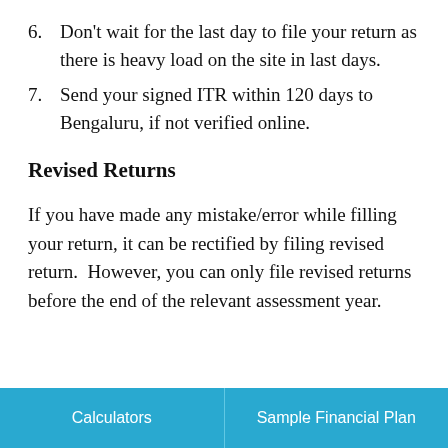6. Don't wait for the last day to file your return as there is heavy load on the site in last days.
7. Send your signed ITR within 120 days to Bengaluru, if not verified online.
Revised Returns
If you have made any mistake/error while filling your return, it can be rectified by filing revised return.  However, you can only file revised returns before the end of the relevant assessment year.
Calculators    Sample Financial Plan